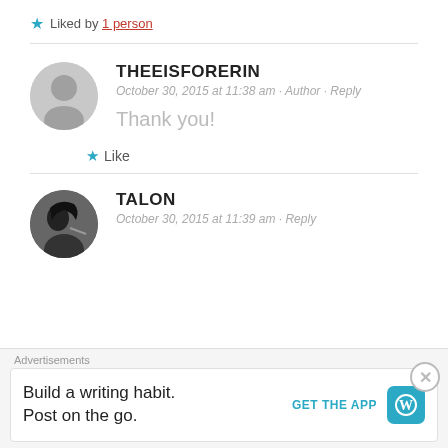★ Liked by 1 person
THEEISFORERIN
October 30, 2015 at 11:38 am · Author · Reply
Thank you!
★ Like
TALON
October 30, 2015 at 11:39 am · Reply
Advertisements
Build a writing habit. Post on the go.
GET THE APP